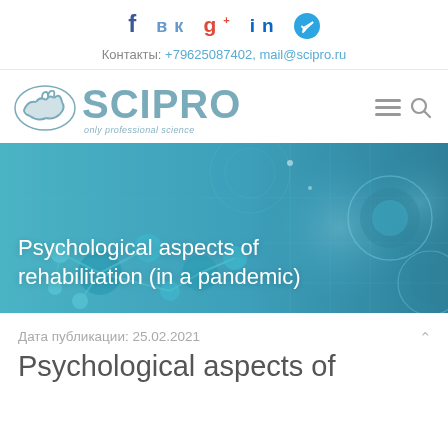[Figure (logo): Social media icons: Facebook, VK, Google+, LinkedIn, Telegram]
Контакты: +79625087402, mail@scipro.ru
[Figure (logo): SCIPRO logo with handshake icon and tagline 'only professional science']
[Figure (photo): Hero banner image with teal/blue molecular and technology background with text 'Psychological aspects of rehabilitation (in a pandemic)']
Дата публикации: 25.02.2021
Psychological aspects of